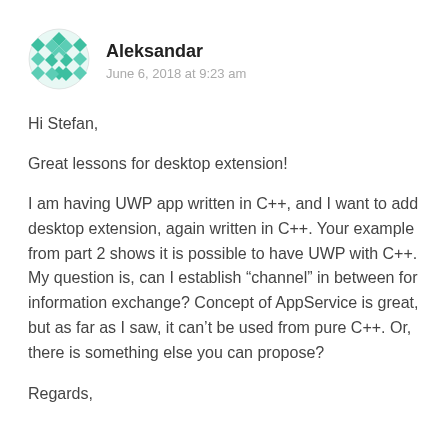[Figure (logo): Decorative geometric avatar icon in teal/green colors, diamond and cross pattern]
Aleksandar
June 6, 2018 at 9:23 am
Hi Stefan,
Great lessons for desktop extension!
I am having UWP app written in C++, and I want to add desktop extension, again written in C++. Your example from part 2 shows it is possible to have UWP with C++. My question is, can I establish “channel” in between for information exchange? Concept of AppService is great, but as far as I saw, it can’t be used from pure C++. Or, there is something else you can propose?
Regards,